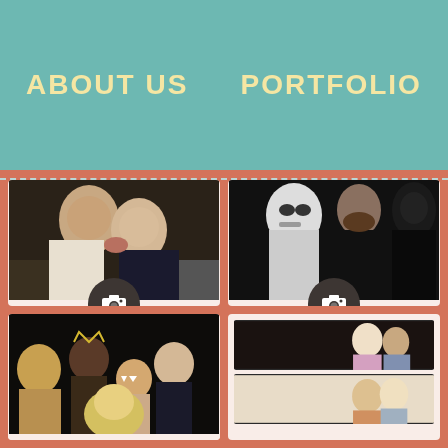ABOUT US   PORTFOLIO
[Figure (photo): Photo card showing couple kissing, with camera icon and label THE KISSING BOOTH]
[Figure (photo): Photo card showing Star Wars characters Stormtrooper and Darth Vader, with camera icon and label STAR WARS]
[Figure (photo): Photo card showing group of people at party with costumes and accessories]
[Figure (photo): Photo card showing photo strip with two portrait photos of couples]